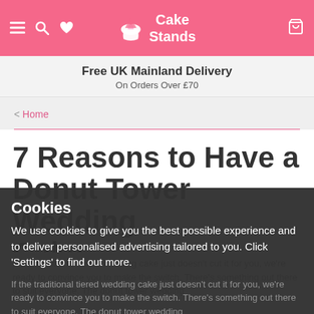Cake Stands — navigation header with menu, search, wishlist, cart icons
Free UK Mainland Delivery
On Orders Over £70
< Home
7 Reasons to Have a Donut Tower Wedding Cake
If the traditional tiered wedding cake just doesn't cut it for you, we're ready to convince you to make the switch. There's something out there to suit everyone. The donut tower wedding
Cookies
We use cookies to give you the best possible experience and to deliver personalised advertising tailored to you. Click 'Settings' to find out more.
OK
SETTINGS